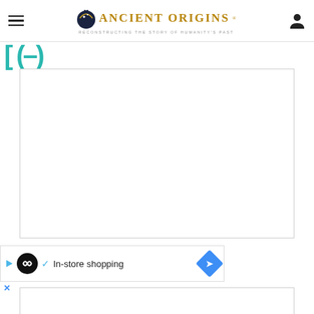Ancient Origins — Reconstructing the story of humanity's past
[Figure (screenshot): Ancient Origins website header with hamburger menu, logo with dark blue teardrop icon, golden text 'Ancient Origins', tagline 'Reconstructing the story of humanity's past', and user account icon]
[Figure (screenshot): Large white content area box with light border, representing a main article or image area on the Ancient Origins website]
[Figure (infographic): Ad banner showing a play button icon, circular black logo with infinity-like symbol, blue checkmark, text 'In-store shopping', and a blue diamond-shaped navigation arrow icon]